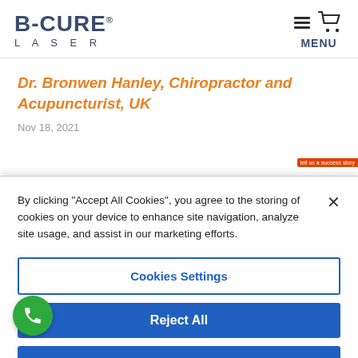[Figure (logo): B-CURE LASER logo with stylized text and shopping cart icon with hamburger menu]
Dr. Bronwen Hanley, Chiropractor and Acupuncturist, UK
Nov 18, 2021
By clicking “Accept All Cookies”, you agree to the storing of cookies on your device to enhance site navigation, analyze site usage, and assist in our marketing efforts.
Cookies Settings
Reject All
Accept All Cookies